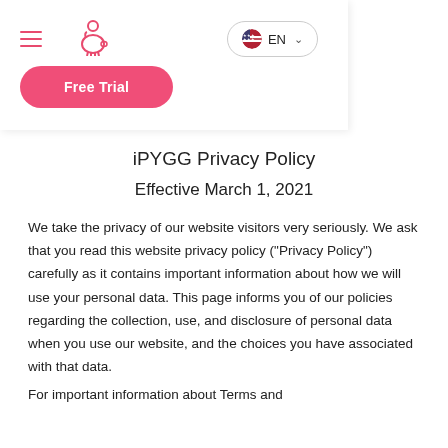[Figure (screenshot): Navigation bar with hamburger menu, piggy bank icon, language selector (EN with US flag), and a pink Free Trial button]
iPYGG Privacy Policy
Effective March 1, 2021
We take the privacy of our website visitors very seriously. We ask that you read this website privacy policy ("Privacy Policy") carefully as it contains important information about how we will use your personal data. This page informs you of our policies regarding the collection, use, and disclosure of personal data when you use our website, and the choices you have associated with that data.
For important information about Terms and